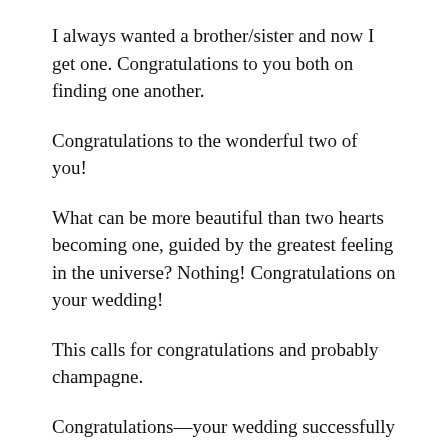I always wanted a brother/sister and now I get one. Congratulations to you both on finding one another.
Congratulations to the wonderful two of you!
What can be more beautiful than two hearts becoming one, guided by the greatest feeling in the universe? Nothing! Congratulations on your wedding!
This calls for congratulations and probably champagne.
Congratulations—your wedding successfully made me sob like a baby!
I hope through the years you become even better friends and share every possible kind of happiness (truncated)